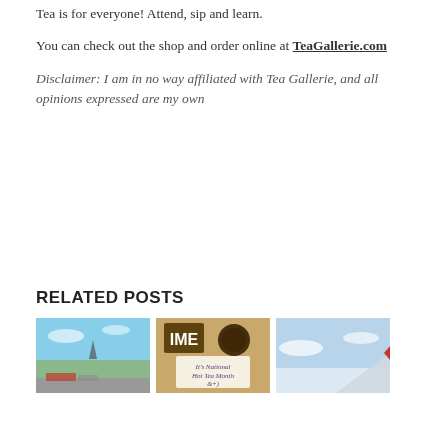Tea is for everyone! Attend, sip and learn.
You can check out the shop and order online at TeaGallerie.com
Disclaimer: I am in no way affiliated with Tea Gallerie, and all opinions expressed are my own
RELATED POSTS
[Figure (photo): Three thumbnail images: a landscape/sky photo, a tea-related photo with text about National Hot Tea Month, and an airplane wing photo]